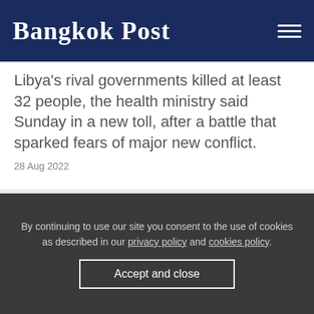Bangkok Post
Libya's rival governments killed at least 32 people, the health ministry said Sunday in a new toll, after a battle that sparked fears of major new conflict.
28 Aug 2022
By continuing to use our site you consent to the use of cookies as described in our privacy policy and cookies policy.
Accept and close